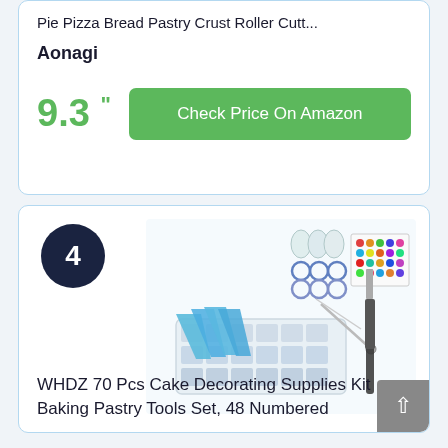Pie Pizza Bread Pastry Crust Roller Cutt...
Aonagi
9.3 "
Check Price On Amazon
4
[Figure (photo): Cake decorating supplies kit showing piping tips in a plastic organizer tray, blue piping bags, couplers, decorating rings, and a spatula, along with colorful sticker sheets]
WHDZ 70 Pcs Cake Decorating Supplies Kit Baking Pastry Tools Set, 48 Numbered